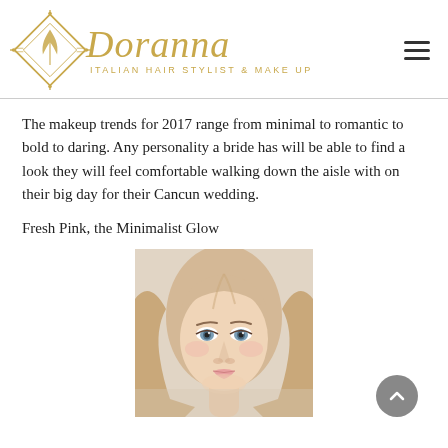[Figure (logo): Doranna Italian Hair Stylist & Make Up logo with gold diamond emblem and script text]
The makeup trends for 2017 range from minimal to romantic to bold to daring. Any personality a bride has will be able to find a look they will feel comfortable walking down the aisle with on their big day for their Cancun wedding.
Fresh Pink, the Minimalist Glow
[Figure (photo): Portrait photo of a blonde woman with soft makeup, wavy hair, blue eyes — demonstrating Fresh Pink minimalist bridal makeup look]